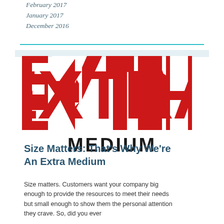February 2017
January 2017
December 2016
[Figure (logo): EXTRA MEDIUM logo with large red block letters spelling EXTRA and bold black text MEDIUM below]
Size Matters: That's Why We're An Extra Medium
Size matters. Customers want your company big enough to provide the resources to meet their needs but small enough to show them the personal attention they crave. So, did you ever